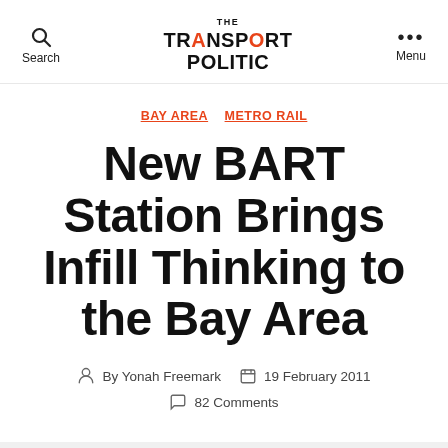The Transport Politic — Search / Menu
BAY AREA  METRO RAIL
New BART Station Brings Infill Thinking to the Bay Area
By Yonah Freemark  19 February 2011  82 Comments